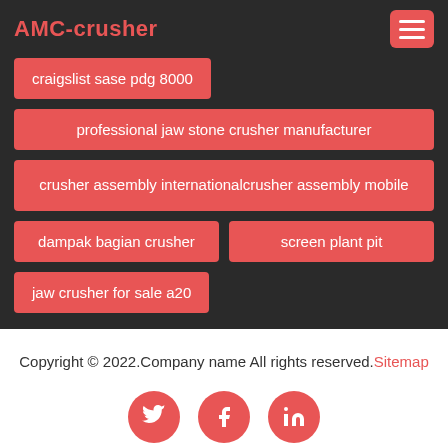AMC-crusher
craigslist sase pdg 8000
professional jaw stone crusher manufacturer
crusher assembly internationalcrusher assembly mobile
dampak bagian crusher
screen plant pit
jaw crusher for sale a20
Copyright © 2022.Company name All rights reserved.Sitemap